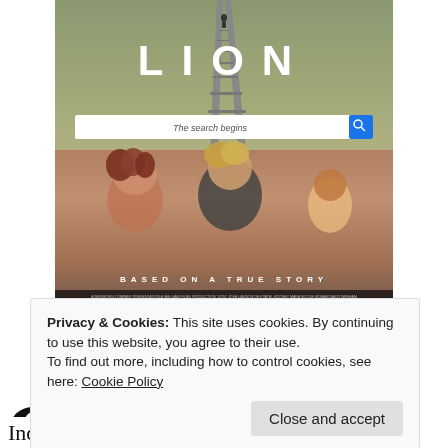[Figure (photo): Movie poster for LION showing railway tracks with a figure in the distance and a Google-style search bar with text 'The search begins', below is a photo of two adults and a child labeled 'BASED ON A TRUE STORY' with film credits at the bottom]
Privacy & Cookies: This site uses cookies. By continuing to use this website, you agree to their use.
To find out more, including how to control cookies, see here: Cookie Policy
Close and accept
Indian orphan Saroo, who uses Google Earth